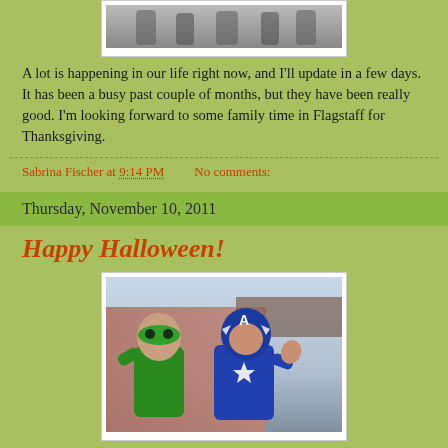[Figure (photo): Top photo showing people, partially cropped, with white border frame]
A lot is happening in our life right now, and I'll update in a few days. It has been a busy past couple of months, but they have been really good. I'm looking forward to some family time in Flagstaff for Thanksgiving.
Sabrina Fischer at 9:14 PM    No comments:
Thursday, November 10, 2011
Happy Halloween!
[Figure (photo): Two children in Halloween costumes — one dressed as Green Lantern with green mask, one dressed as Captain America with blue helmet/mask, waving at the camera]